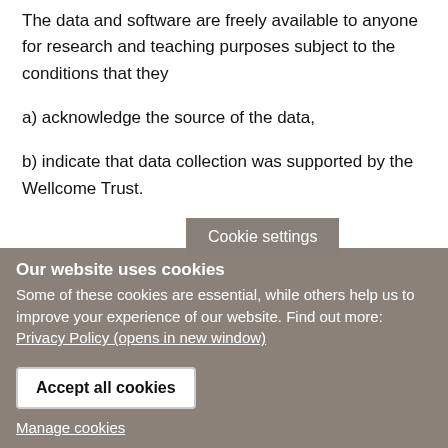The data and software are freely available to anyone for research and teaching purposes subject to the conditions that they
a) acknowledge the source of the data,
b) indicate that data collection was supported by the Wellcome Trust.
Cookie settings
Our website uses cookies
Some of these cookies are essential, while others help us to improve your experience of our website. Find out more: Privacy Policy (opens in new window)
Accept all cookies
Manage cookies